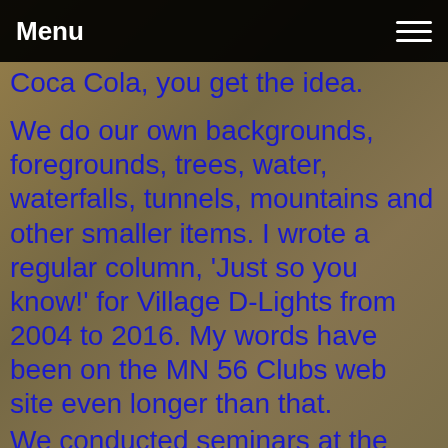Menu
Coca Cola, you get the idea.
We do our own backgrounds, foregrounds, trees, water, waterfalls, tunnels, mountains and other smaller items. I wrote a regular column, ‘Just so you know!’ for Village D-Lights from 2004 to 2016. My words have been on the MN 56 Clubs web site even longer than that.
We conducted seminars at the Minnesota Gatherings in 2002 and 2008, Green Bay 2006, Chicago 2012, Connecticut 2013 and California in 2015.